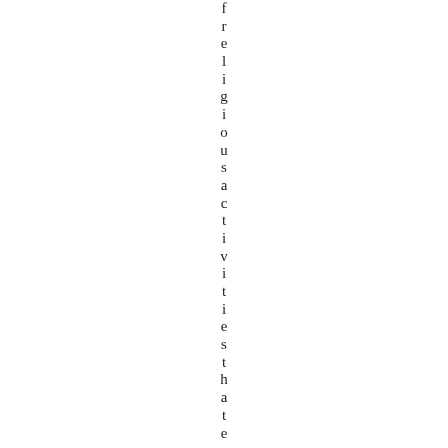freligious activities that encour